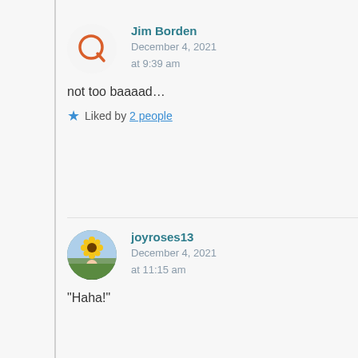[Figure (illustration): Orange Q logo avatar for Jim Borden]
Jim Borden
December 4, 2021
at 9:39 am
not too baaaad…
★ Liked by 2 people
[Figure (photo): Circular avatar photo of joyroses13 with sunflowers in the background]
joyroses13
December 4, 2021
at 11:15 am
“Haha!”